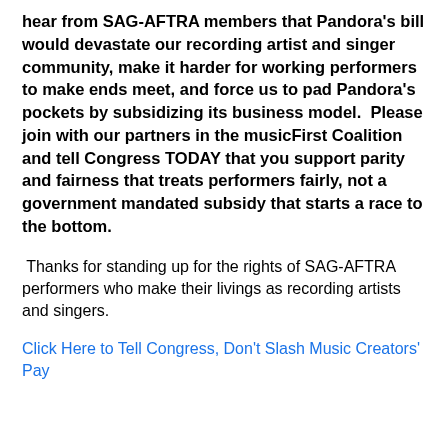hear from SAG-AFTRA members that Pandora's bill would devastate our recording artist and singer community, make it harder for working performers to make ends meet, and force us to pad Pandora's pockets by subsidizing its business model.  Please join with our partners in the musicFirst Coalition and tell Congress TODAY that you support parity and fairness that treats performers fairly, not a government mandated subsidy that starts a race to the bottom.
Thanks for standing up for the rights of SAG-AFTRA performers who make their livings as recording artists and singers.
Click Here to Tell Congress, Don't Slash Music Creators' Pay